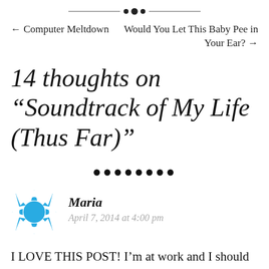[Figure (other): Decorative horizontal divider with ornamental dots and lines]
← Computer Meltdown     Would You Let This Baby Pee in Your Ear? →
14 thoughts on “Soundtrack of My Life (Thus Far)”
[Figure (other): Row of decorative black dots used as a section divider]
[Figure (other): Blue starburst/snowflake avatar icon for commenter Maria]
Maria
April 7, 2014 at 4:00 pm
I LOVE THIS POST! I’m at work and I should be doing other stuff, but when I saw the post I decided to